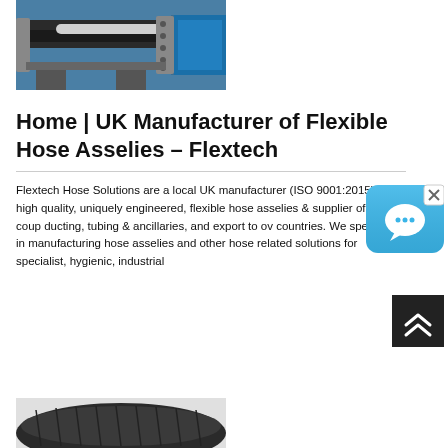[Figure (photo): Photo of industrial flexible hose assembly connected to blue machinery]
Home | UK Manufacturer of Flexible Hose Asselies - Flextech
Flextech Hose Solutions are a local UK manufacturer (ISO 9001:2015) of high quality, uniquely engineered, flexible hose asselies & supplier of hose, couplings, ducting, tubing & ancillaries, and export to over X countries. We specialise in manufacturing hose asselies and other hose related solutions for specialist, hygienic, industrial
[Figure (screenshot): Chat widget button (blue speech bubble icon) with close X in corner]
[Figure (other): Scroll-to-top button (dark background with double chevron up arrows)]
[Figure (photo): Partial photo of a dark flexible hose product at bottom of page]